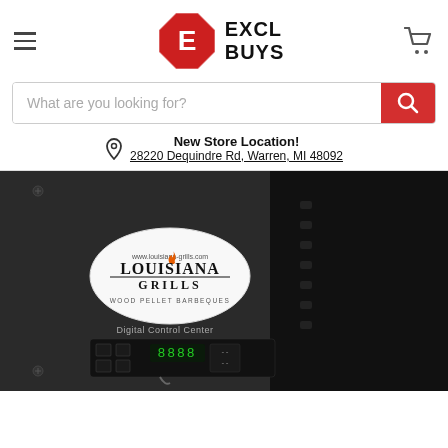[Figure (logo): ExclBuys logo with red octagon E and text EXCL BUYS]
[Figure (other): Search bar with placeholder 'What are you looking for?' and red search button]
New Store Location!
28220 Dequindre Rd, Warren, MI 48092
[Figure (photo): Close-up photo of a Louisiana Grills wood pellet barbecue grill showing the logo sticker and Digital Control Center panel]